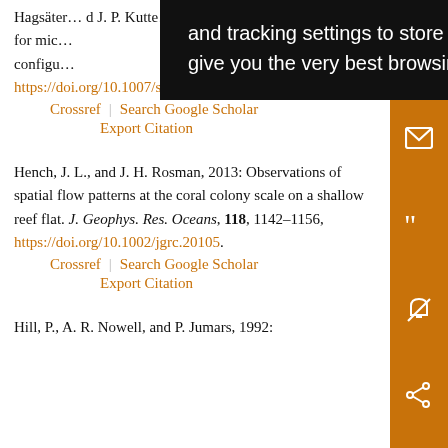Hagsäte... and J. P. Kutte... on for mic... configu... https://doi.org/10.1007/s00348-007-0394-z.
Crossref | Search Google Scholar
Export Citation
Hench, J. L., and J. H. Rosman, 2013: Observations of spatial flow patterns at the coral colony scale on a shallow reef flat. J. Geophys. Res. Oceans, 118, 1142–1156, https://doi.org/10.1002/jgrc.20105.
Crossref | Search Google Scholar
Export Citation
Hill, P., A. R. Nowell, and P. Jumars, 1992:
[Figure (screenshot): Black tooltip overlay with white text reading: 'and tracking settings to store information that help give you the very best browsing experience.']